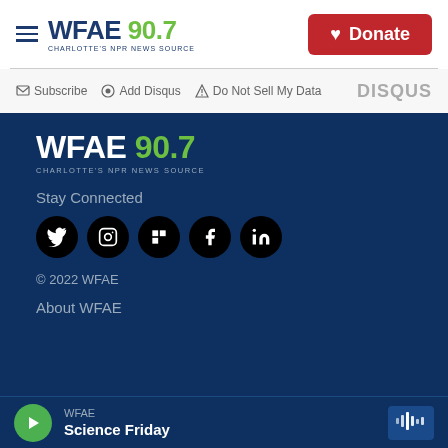WFAE 90.7 CHARLOTTE'S NPR NEWS SOURCE | Donate
Subscribe  Add Disqus  Do Not Sell My Data  DISQUS
[Figure (logo): WFAE 90.7 Charlotte's NPR News Source footer logo in white on dark blue background]
Stay Connected
[Figure (illustration): Social media icons: Twitter, Instagram, Flipboard, Facebook, LinkedIn — black circular buttons]
© 2022 WFAE
About WFAE
WFAE  Science Friday